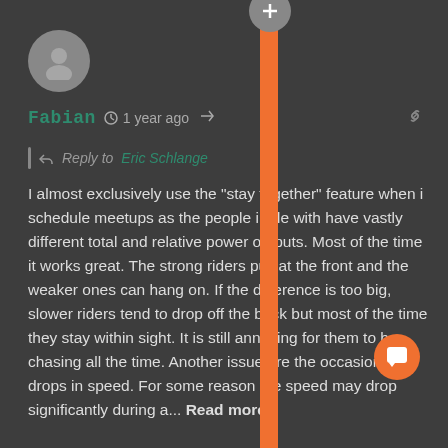[Figure (screenshot): Social media comment UI with orange vertical overlay bar. User avatar (gray circle with person icon) at top left.]
Fabian · 1 year ago
Reply to Eric Schlange
I almost exclusively use the "stay together" feature when i schedule meetups as the people i ride with have vastly different total and relative power outputs. Most of the time it works great. The strong riders pull at the front and the weaker ones can hang on. If the difference is too big, slower riders tend to drop off the back but most of the time they stay within sight. It is still annoying for them to be chasing all the time. Another issue are the occasional drops in speed. For some reason the speed may drop significantly during a... Read more »